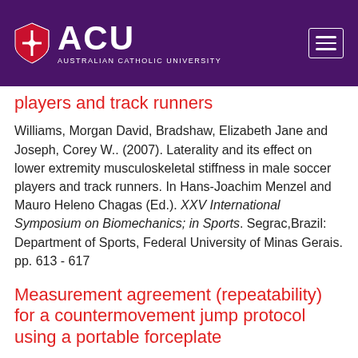ACU — Australian Catholic University
players and track runners
Williams, Morgan David, Bradshaw, Elizabeth Jane and Joseph, Corey W.. (2007). Laterality and its effect on lower extremity musculoskeletal stiffness in male soccer players and track runners. In Hans-Joachim Menzel and Mauro Heleno Chagas (Ed.). XXV International Symposium on Biomechanics; in Sports. Segrac,Brazil: Department of Sports, Federal University of Minas Gerais. pp. 613 - 617
Measurement agreement (repeatability) for a countermovement jump protocol using a portable forceplate
Williams, Morgan, Bradshaw, Elizabeth and